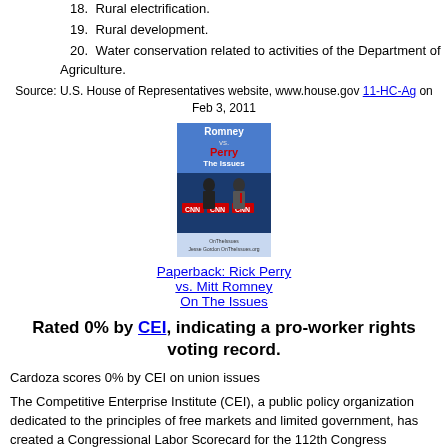18. Rural electrification.
19. Rural development.
20. Water conservation related to activities of the Department of Agriculture.
Source: U.S. House of Representatives website, www.house.gov 11-HC-Ag on Feb 3, 2011
[Figure (photo): Book cover: Romney vs Perry on The Issues, showing two men in suits at a CNN debate podium]
Paperback: Rick Perry vs. Mitt Romney On The Issues
Rated 0% by CEI, indicating a pro-worker rights voting record.
Cardoza scores 0% by CEI on union issues
The Competitive Enterprise Institute (CEI), a public policy organization dedicated to the principles of free markets and limited government, has created a Congressional Labor Scorecard for the 112th Congress focusing on worker issues. The score is determined based on policies that support worker freedom and the elimination of Big Labor's privileges across the country.
Votes in the current Congress score include: